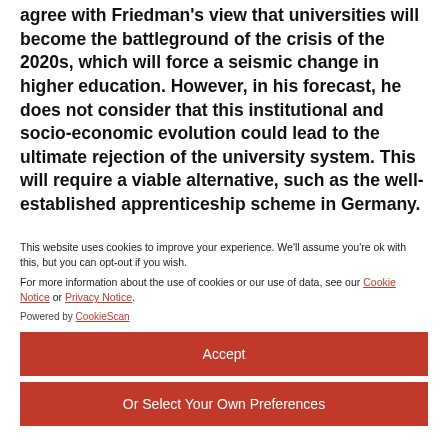agree with Friedman's view that universities will become the battleground of the crisis of the 2020s, which will force a seismic change in higher education. However, in his forecast, he does not consider that this institutional and socio-economic evolution could lead to the ultimate rejection of the university system. This will require a viable alternative, such as the well-established apprenticeship scheme in Germany.
This website uses cookies to improve your experience. We'll assume you're ok with this, but you can opt-out if you wish.
For more information about the use of cookies or our use of data, see our Cookie Notice or Privacy Notice.
Powered by CookieScan
Accept
Or Select Your Own Preferences